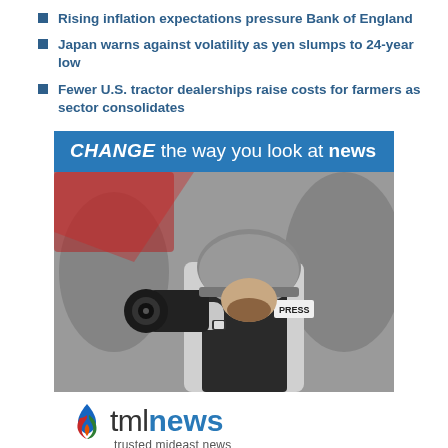Rising inflation expectations pressure Bank of England
Japan warns against volatility as yen slumps to 24-year low
Fewer U.S. tractor dealerships raise costs for farmers as sector consolidates
[Figure (illustration): TML News advertisement with blue header reading 'CHANGE the way you look at news', a photo of a press journalist in helmet and body armor taking photos, the tmlnews logo with colorful flame icon, tagline 'trusted mideast news', and website www.themedialine.org on a red arc banner at the bottom.]